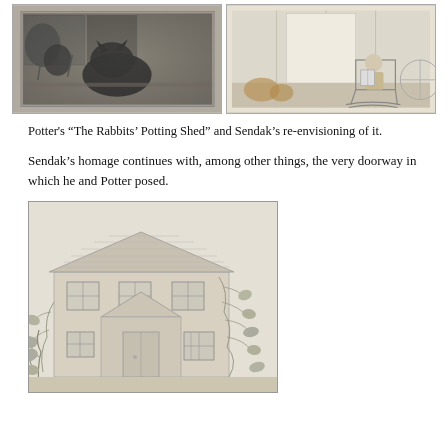[Figure (illustration): Two side-by-side illustrations: left shows Beatrix Potter's 'The Rabbits' Potting Shed' — a dark pencil drawing of a cat or animal near a window with plants; right shows Sendak's re-envisioning — a lighter pencil sketch of a small child sitting in a rocking chair inside a shed doorway.]
Potter's “The Rabbits’ Potting Shed” and Sendak’s re-envisioning of it.
Sendak’s homage continues with, among other things, the very doorway in which he and Potter posed.
[Figure (illustration): A pencil sketch of a two-story stone or stucco cottage with a prominent pointed porch gable, several windows, and climbing vines on the right side. This is the doorway in which Sendak and Potter posed.]